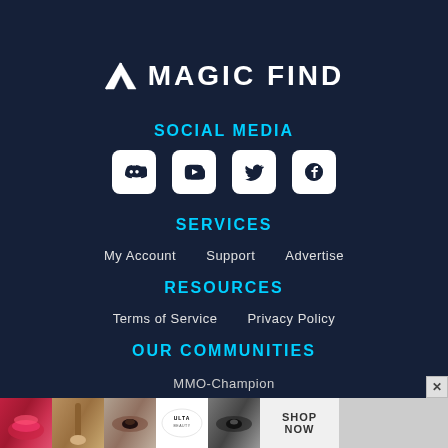[Figure (logo): Magic Find logo with stylized M icon and white uppercase text on dark navy background]
SOCIAL MEDIA
[Figure (infographic): Four social media icons in white circles: Discord, YouTube, Twitter, Facebook]
SERVICES
My Account   Support   Advertise
RESOURCES
Terms of Service   Privacy Policy
OUR COMMUNITIES
MMO-Champion
BlueTracker
[Figure (photo): Ulta Beauty advertisement banner with makeup photos and SHOP NOW button]